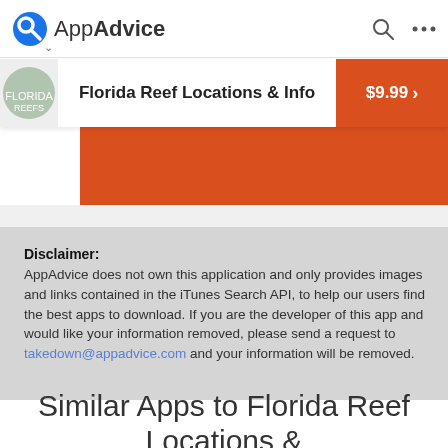AppAdvice
Florida Reef Locations & Info
in the App Store
Disclaimer:
AppAdvice does not own this application and only provides images and links contained in the iTunes Search API, to help our users find the best apps to download. If you are the developer of this app and would like your information removed, please send a request to takedown@appadvice.com and your information will be removed.
Similar Apps to Florida Reef Locations & Info